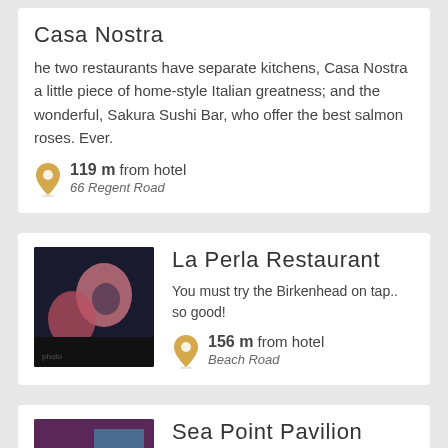Casa Nostra
he two restaurants have separate kitchens, Casa Nostra a little piece of home-style Italian greatness; and the wonderful, Sakura Sushi Bar, who offer the best salmon roses. Ever.
119 m from hotel
66 Regent Road
La Perla Restaurant
You must try the Birkenhead on tap.. so good!
156 m from hotel
Beach Road
Sea Point Pavilion